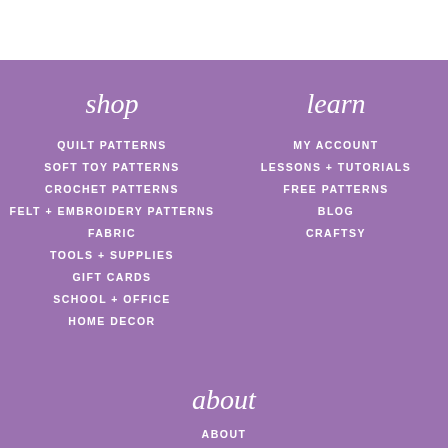shop
QUILT PATTERNS
SOFT TOY PATTERNS
CROCHET PATTERNS
FELT + EMBROIDERY PATTERNS
FABRIC
TOOLS + SUPPLIES
GIFT CARDS
SCHOOL + OFFICE
HOME DECOR
learn
MY ACCOUNT
LESSONS + TUTORIALS
FREE PATTERNS
BLOG
CRAFTSY
about
ABOUT